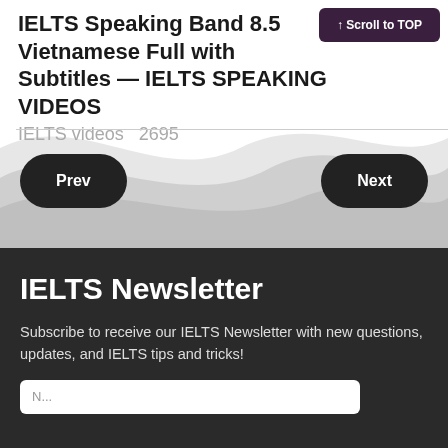IELTS Speaking Band 8.5 Vietnamese Full with Subtitles — IELTS SPEAKING VIDEOS
IELTS videos  2695
↑ Scroll to TOP
Prev
Next
IELTS Newsletter
Subscribe to receive our IELTS Newsletter with new questions, updates, and IELTS tips and tricks!